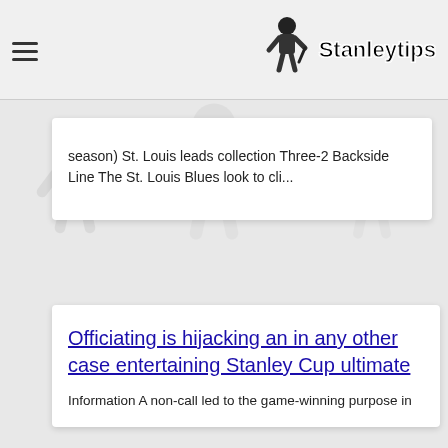Stanleytips
season) St. Louis leads collection Three-2 Backside Line The St. Louis Blues look to cli...
[Figure (illustration): Hockey player figures in background (grayscale decorative illustration)]
Officiating is hijacking an in any other case entertaining Stanley Cup ultimate
Information A non-call led to the game-winning purpose in